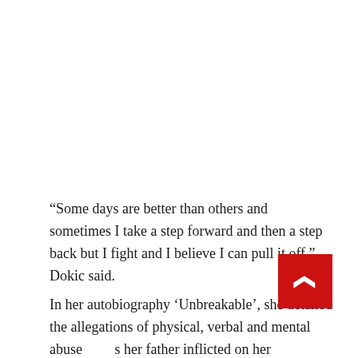“Some days are better than others and sometimes I take a step forward and then a step back but I fight and I believe I can pull it off,” Dokic said.
In her autobiography ‘Unbreakable’, she detailed the allegations of physical, verbal and mental abuse her father inflicted on her throughout her tenni... The New York Times reported that he denied at least one